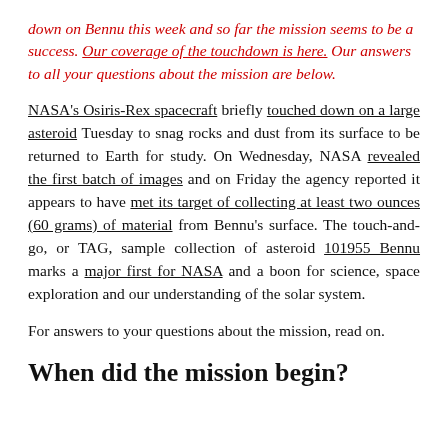down on Bennu this week and so far the mission seems to be a success. Our coverage of the touchdown is here. Our answers to all your questions about the mission are below.
NASA's Osiris-Rex spacecraft briefly touched down on a large asteroid Tuesday to snag rocks and dust from its surface to be returned to Earth for study. On Wednesday, NASA revealed the first batch of images and on Friday the agency reported it appears to have met its target of collecting at least two ounces (60 grams) of material from Bennu's surface. The touch-and-go, or TAG, sample collection of asteroid 101955 Bennu marks a major first for NASA and a boon for science, space exploration and our understanding of the solar system.
For answers to your questions about the mission, read on.
When did the mission begin?